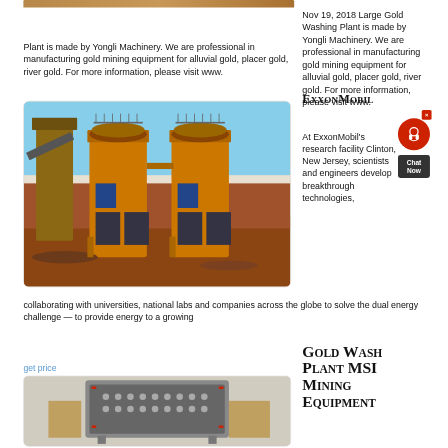[Figure (photo): Partial view of gold washing plant machinery at top of page]
Nov 19, 2018 Large Gold Washing Plant is made by Yongli Machinery. We are professional in manufacturing gold mining equipment for alluvial gold, placer gold, river gold. For more information, please visit www.
get price
[Figure (photo): Large orange gold mining/washing equipment with industrial machinery at a mining site with red/brown earth]
ExxonMobil
At ExxonMobil's research facility Clinton, New Jersey, scientists and engineers develop breakthrough technologies, collaborating with universities, national labs and companies across the globe to solve the dual energy challenge — to provide energy to a growing
get price
Gold Wash Plant MSI Mining Equipment
[Figure (photo): Mining sieve/screen equipment photo at bottom of page]